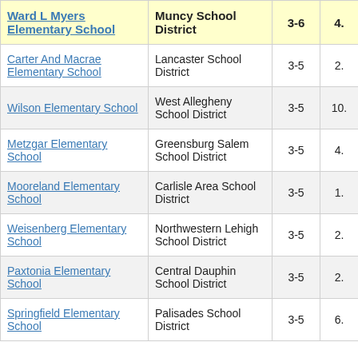| School | District | Grades | Value |
| --- | --- | --- | --- |
| Ward L Myers Elementary School | Muncy School District | 3-6 | 4. |
| Carter And Macrae Elementary School | Lancaster School District | 3-5 | 2. |
| Wilson Elementary School | West Allegheny School District | 3-5 | 10. |
| Metzgar Elementary School | Greensburg Salem School District | 3-5 | 4. |
| Mooreland Elementary School | Carlisle Area School District | 3-5 | 1. |
| Weisenberg Elementary School | Northwestern Lehigh School District | 3-5 | 2. |
| Paxtonia Elementary School | Central Dauphin School District | 3-5 | 2. |
| Springfield Elementary School | Palisades School District | 3-5 | 6. |